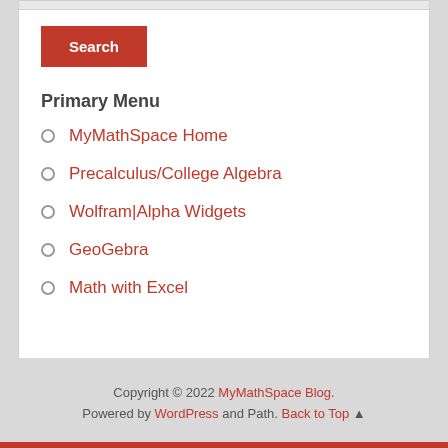Search
Primary Menu
MyMathSpace Home
Precalculus/College Algebra
Wolfram|Alpha Widgets
GeoGebra
Math with Excel
Copyright © 2022 MyMathSpace Blog. Powered by WordPress and Path. Back to Top ▲